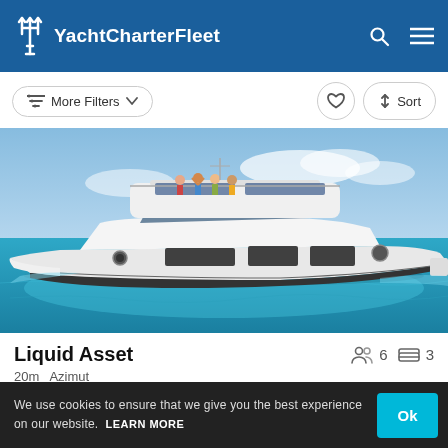YachtCharterFleet
More Filters  Sort
[Figure (photo): A white luxury motor yacht (Azimut, 20m, 2020) named Liquid Asset on turquoise/blue water with people visible on the upper deck against a blue sky with light clouds.]
Liquid Asset
20m  Azimut
2020
We use cookies to ensure that we give you the best experience on our website. LEARN MORE  Ok